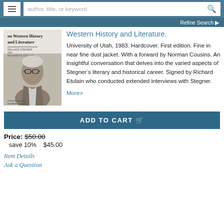author, title, or keyword
Refine Search
[Figure (illustration): Book cover showing an elderly man with glasses against book text 'on Western History and Literature']
Western History and Literature.
University of Utah, 1983. Hardcover. First edition. Fine in near fine dust jacket. With a forward by Norman Cousins. An insightful conversation that delves into the varied aspects of Stegner’s literary and historical career. Signed by Richard Etulain who conducted extended interviews with Stegner.
More>
ADD TO CART
Price: $50.00
save 10%    $45.00
Item Details
Ask a Question